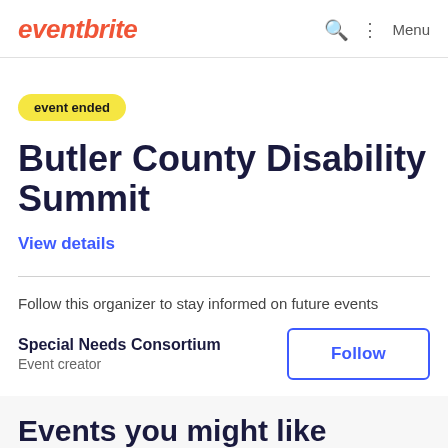eventbrite
event ended
Butler County Disability Summit
View details
Follow this organizer to stay informed on future events
Special Needs Consortium
Event creator
Follow
Events you might like